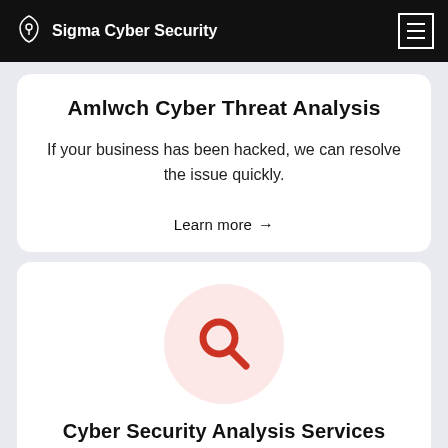Sigma Cyber Security
Amlwch Cyber Threat Analysis
If your business has been hacked, we can resolve the issue quickly.
Learn more →
[Figure (illustration): Pink circle with a red magnifying glass icon representing cyber security analysis]
Cyber Security Analysis Services